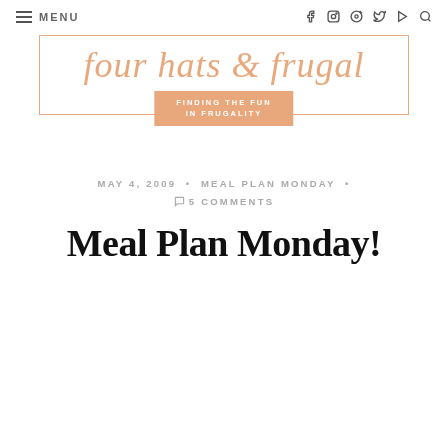≡ MENU  f  🔲  ⊕  🐦  ▶  🔍
[Figure (logo): four hats & frugal blog logo with tagline FINDING THE FUN IN FRUGALITY in an orange rectangle, inside an orange-bordered box]
MAY 4, 2009 • MEAL PLAN MONDAY • 💬 5 COMMENTS
Meal Plan Monday!